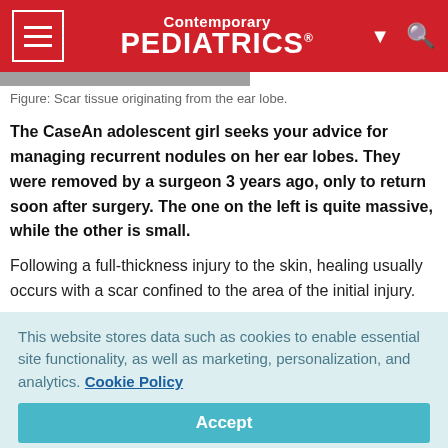Contemporary PEDIATRICS
Figure: Scar tissue originating from the ear lobe.
The CaseAn adolescent girl seeks your advice for managing recurrent nodules on her ear lobes. They were removed by a surgeon 3 years ago, only to return soon after surgery. The one on the left is quite massive, while the other is small.
Following a full-thickness injury to the skin, healing usually occurs with a scar confined to the area of the initial injury.
This website stores data such as cookies to enable essential site functionality, as well as marketing, personalization, and analytics. Cookie Policy
Accept
Deny